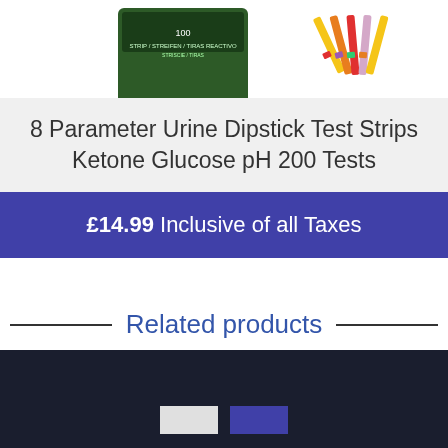[Figure (photo): Two product images partially visible at top: left shows a box of urine test strips (100 strips), right shows colorful urine dipstick test strips fanned out.]
8 Parameter Urine Dipstick Test Strips Ketone Glucose pH 200 Tests
£14.99 Inclusive of all Taxes
Related products
[Figure (screenshot): Dark footer bar with two small colored buttons (white/grey and blue) at the bottom center.]